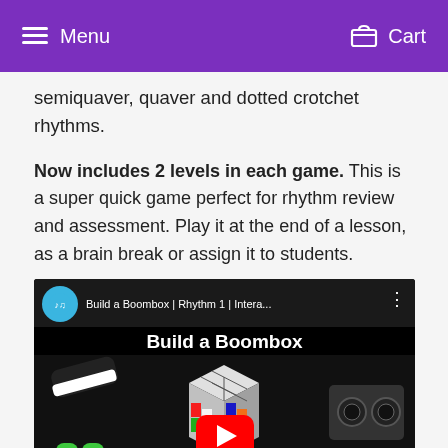Menu  Cart
semiquaver, quaver and dotted crotchet rhythms.
Now includes 2 levels in each game. This is a super quick game perfect for rhythm review and assessment. Play it at the end of a lesson, as a brain break or assign it to students.
[Figure (screenshot): YouTube video thumbnail showing 'Build a Boombox | Rhythm 1 | Intera...' with a Rubik's cube, boombox, cassette tape, Tetris blocks, sneakers, sunglasses, and 'I love the 80s' text on a dark background. Red YouTube play button in center.]